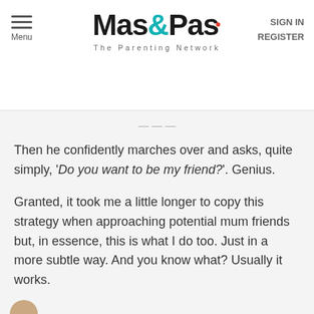Menu | Mas&Pas The Parenting Network | SIGN IN REGISTER
Then he confidently marches over and asks, quite simply, ‘Do you want to be my friend?’. Genius.
Granted, it took me a little longer to copy this strategy when approaching potential mum friends but, in essence, this is what I do too. Just in a more subtle way. And you know what? Usually it works.